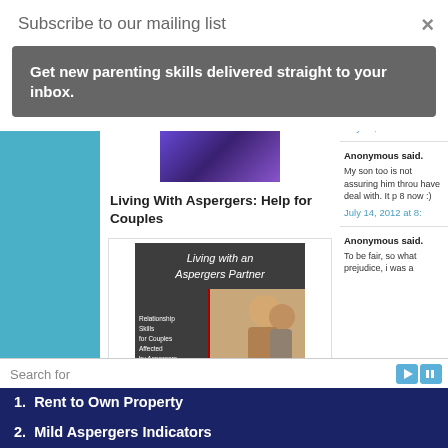Subscribe to our mailing list
×
Get new parenting skills delivered straight to your inbox.
[Figure (screenshot): Thumbnail image with purple/dark tones at top of article]
Living With Aspergers: Help for Couples
[Figure (photo): Book cover: Living with an Aspergers Partner by Mark Hutten M.A., showing a couple, with subtitle Relationship Skills for Couples Affected by Aspergers]
July 14, 2012 at 8:
Anonymous said.
My son too is not assuring him throu have deal with. It p 8 now :)
July 14, 2012 at 8:
Anonymous said.
To be fair, so what prejudice, i was a
Search for
1.  Rent to Own Property
2.  Mild Aspergers Indicators